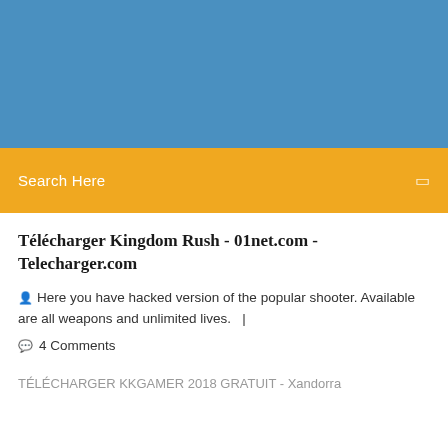[Figure (other): Blue banner/header background image area]
Search Here
Télécharger Kingdom Rush - 01net.com - Telecharger.com
Here you have hacked version of the popular shooter. Available are all weapons and unlimited lives.  |
4 Comments
TÉLÉCHARGER KKGAMER 2018 GRATUIT - Xandorra